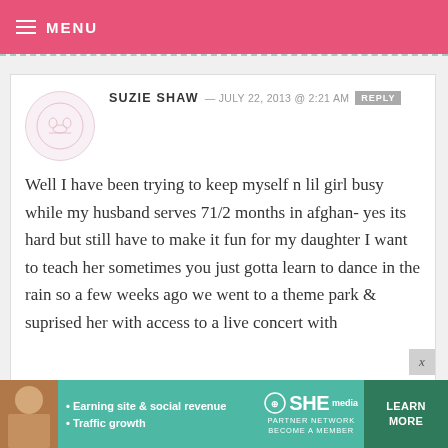MENU
SUZIE SHAW — JULY 22, 2013 @ 2:21 AM REPLY
Well I have been trying to keep myself n lil girl busy while my husband serves 71/2 months in afghan- yes its hard but still have to make it fun for my daughter I want to teach her sometimes you just gotta learn to dance in the rain so a few weeks ago we went to a theme park & suprised her with access to a live concert with
[Figure (infographic): SHE Partner Network advertisement banner with woman photo, bullets: Earning site & social revenue, Traffic growth. LEARN MORE button.]